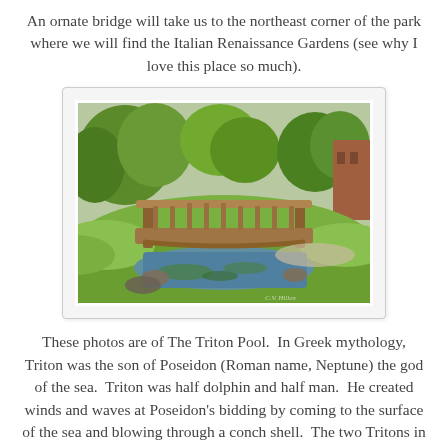An ornate bridge will take us to the northeast corner of the park where we will find the Italian Renaissance Gardens (see why I love this place so much).
[Figure (photo): A wooden ornate footbridge over a small stream or pond in a lush green park, with trees and a brick building visible in the background. The stream below has algae and rocks.]
These photos are of The Triton Pool.  In Greek mythology, Triton was the son of Poseidon (Roman name, Neptune) the god of the sea.  Triton was half dolphin and half man.  He created winds and waves at Poseidon's bidding by coming to the surface of the sea and blowing through a conch shell.  The two Tritons in the park were brought from Italy and